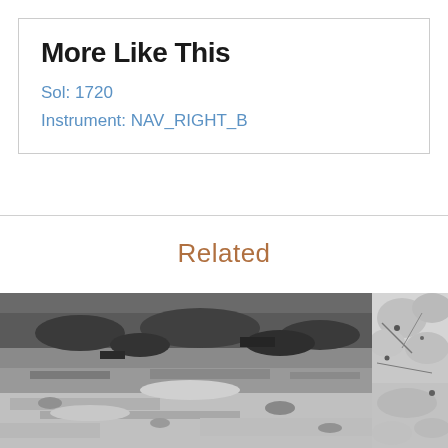More Like This
Sol: 1720
Instrument: NAV_RIGHT_B
Related
[Figure (photo): Black and white photograph from Mars Curiosity rover showing rocky Martian terrain with layered rock formations and stones on the surface. Taken with NAV_RIGHT_B instrument on Sol 1720.]
[Figure (photo): Partial black and white photograph of Mars surface showing lighter rocky terrain, partially cropped at the right edge of the page.]